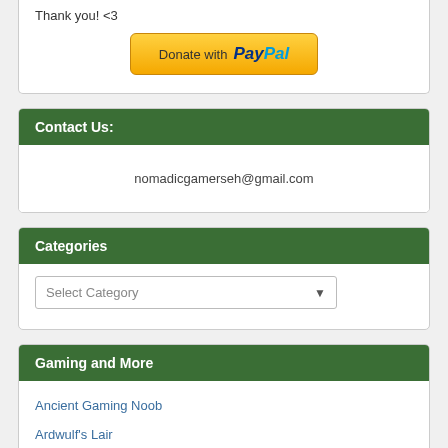Thank you! <3
[Figure (other): Donate with PayPal button, orange/yellow gradient background]
Contact Us:
nomadicgamerseh@gmail.com
Categories
Select Category
Gaming and More
Ancient Gaming Noob
Ardwulf's Lair
Bhagpuss – Inventory Full